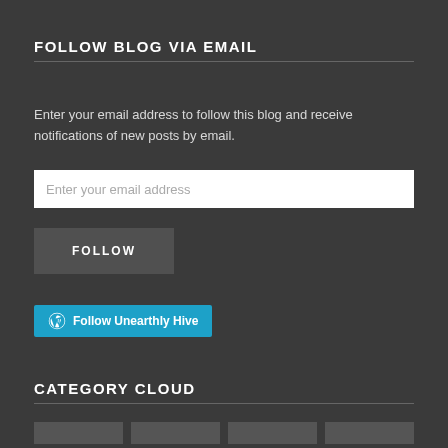FOLLOW BLOG VIA EMAIL
Enter your email address to follow this blog and receive notifications of new posts by email.
Enter your email address
FOLLOW
Follow Unearthly Hive
CATEGORY CLOUD